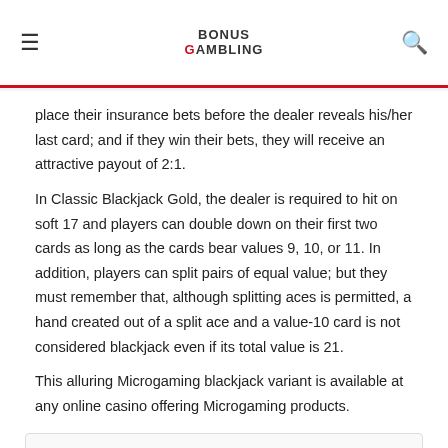BONUS GAMBLING
place their insurance bets before the dealer reveals his/her last card; and if they win their bets, they will receive an attractive payout of 2:1.
In Classic Blackjack Gold, the dealer is required to hit on soft 17 and players can double down on their first two cards as long as the cards bear values 9, 10, or 11. In addition, players can split pairs of equal value; but they must remember that, although splitting aces is permitted, a hand created out of a split ace and a value-10 card is not considered blackjack even if its total value is 21.
This alluring Microgaming blackjack variant is available at any online casino offering Microgaming products.
Casinos Which Offer Classic Blackjack Gold Game